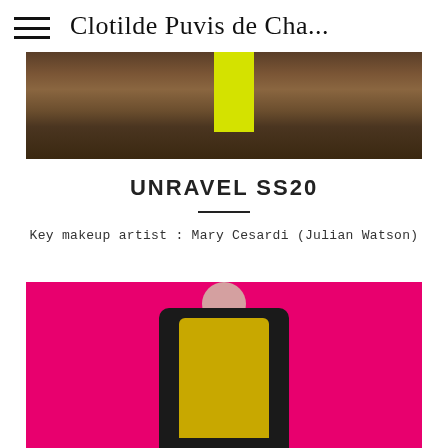Clotilde Puvis de Cha...
[Figure (photo): Partial photo showing a wooden door/panel background with a yellow sleeve visible, cropped at the top]
UNRAVEL SS20
Key makeup artist : Mary Cesardi (Julian Watson)
[Figure (photo): Fashion show photo of a model in a black coat over a gold perforated/dotted garment against a bright pink/magenta background, with dark lip makeup]